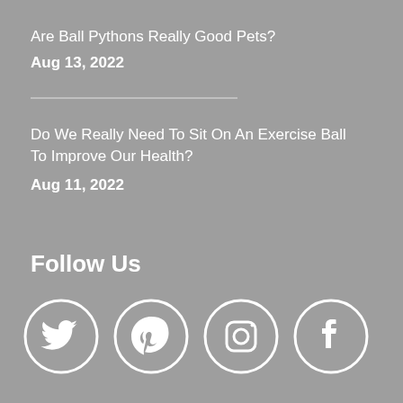Are Ball Pythons Really Good Pets?
Aug 13, 2022
Do We Really Need To Sit On An Exercise Ball To Improve Our Health?
Aug 11, 2022
Follow Us
[Figure (illustration): Four social media icons in white circles: Twitter bird, Pinterest P, Instagram camera, Facebook f]